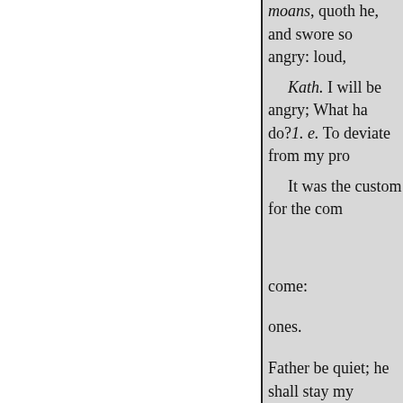moans, quoth he, and swore so angry: loud, Kath. I will be angry; What ha do?1. e. To deviate from my pro It was the custom for the com come: ones. Father be quiet; he shall stay my Gre. Ay, marry, Sir: now it begin Kath. Gentlemen, forward to the Curt. Is my master and his wife c Grumio ? Pet. They shall go f fire ; cast on no water. Obey the Curt. Is she so hot a shrew as ported ? Carouse full measure to merry, -or go hang yourselves; fi with me, woman, and beast: